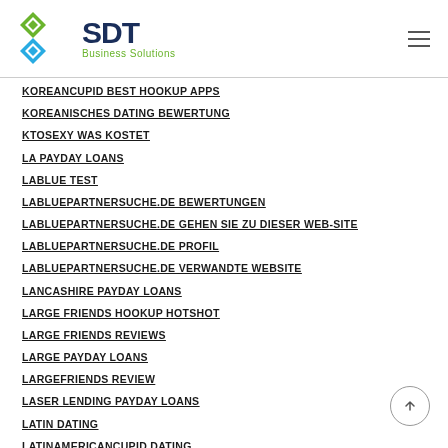SDT Business Solutions
KOREANCUPID BEST HOOKUP APPS
KOREANISCHES DATING BEWERTUNG
KTOSEXY WAS KOSTET
LA PAYDAY LOANS
LABLUE TEST
LABLUEPARTNERSUCHE.DE BEWERTUNGEN
LABLUEPARTNERSUCHE.DE GEHEN SIE ZU DIESER WEB-SITE
LABLUEPARTNERSUCHE.DE PROFIL
LABLUEPARTNERSUCHE.DE VERWANDTE WEBSITE
LANCASHIRE PAYDAY LOANS
LARGE FRIENDS HOOKUP HOTSHOT
LARGE FRIENDS REVIEWS
LARGE PAYDAY LOANS
LARGEFRIENDS REVIEW
LASER LENDING PAYDAY LOANS
LATIN DATING
LATINAMERICANCUPID DATING